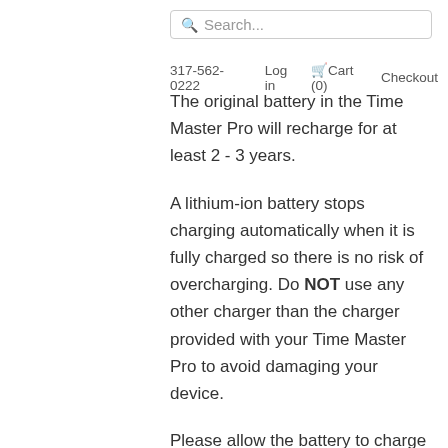Search...
317-562-0222   Log in   Cart (0)   Checkout
The original battery in the Time Master Pro will recharge for at least 2 - 3 years.
A lithium-ion battery stops charging automatically when it is fully charged so there is no risk of overcharging. Do NOT use any other charger than the charger provided with your Time Master Pro to avoid damaging your device.
Please allow the battery to charge for at least 2 - 3 hours so you do not UNDER-charge the battery. THE RED LIGHT TURNS GREEN WHEN FULLY CHARGED.